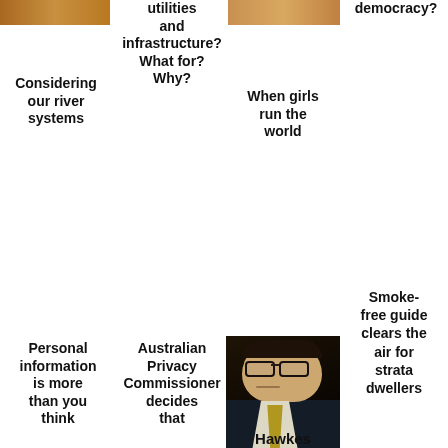[Figure (photo): Top-left partial photo, landscape/nature tones]
utilities and infrastructure? What for? Why?
[Figure (photo): Top-center-right partial photo, warm tones]
democracy?
Considering our river systems
When girls run the world
Smoke-free guide clears the air for strata dwellers
[Figure (photo): Photo of a man in glasses and suit, appears to be a politician]
Personal information is more than you think
Australian Privacy Commissioner decides that
Hawkes